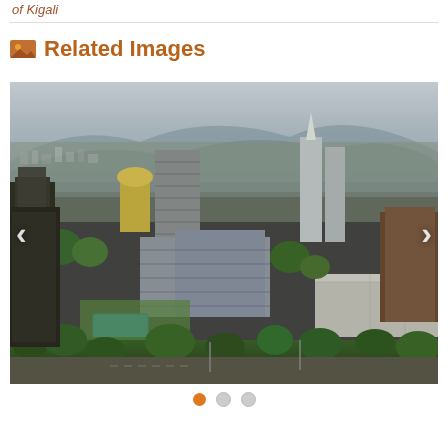of Kigali
Related Images
[Figure (photo): Aerial photograph of Kigali city showing urban buildings, skyscrapers, green trees, a swimming pool area, and hills in the background under a hazy sky. Navigation arrows on left and right sides of the image.]
Slide indicators: 3 dots, first dot active (orange), second and third inactive (gray)